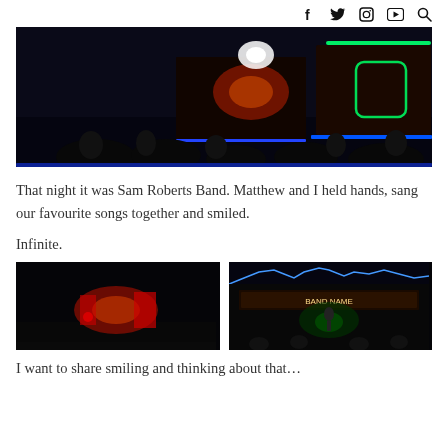social media icons: facebook, twitter, instagram, youtube, search
[Figure (photo): Night-time outdoor concert scene with crowd silhouettes, illuminated stage truck with colorful LED lights (blue, green, red), dark sky background.]
That night it was Sam Roberts Band. Matthew and I held hands, sang our favourite songs together and smiled.
Infinite.
[Figure (photo): Dark concert scene showing illuminated stage signage with red and orange lights against black background.]
[Figure (photo): Night-time concert with blue LED lights outlining the top of a stage truck, performer visible on stage with crowd silhouettes.]
I want to share smiling and thinking about that...